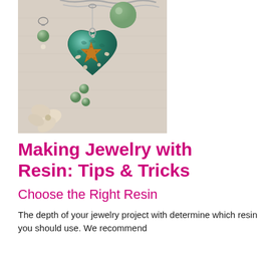[Figure (photo): Resin heart-shaped pendant with starfish and shells embedded, shown with green bead earrings, silver chain, and dried flowers on a linen background]
Making Jewelry with Resin: Tips & Tricks
Choose the Right Resin
The depth of your jewelry project with determine which resin you should use. We recommend